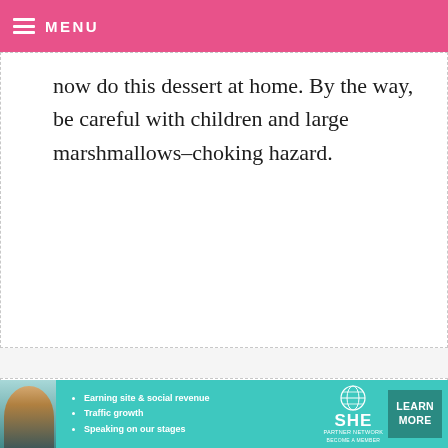≡ MENU
now do this dessert at home. By the way, be careful with children and large marshmallows–choking hazard.
TRACI —
We just h… and we di… they were… have see… the giant marshmallows and different
[Figure (screenshot): Video player overlay showing a paused video with play button, progress bar at 13:52, and controls including mute, CC, grid, settings, and fullscreen buttons. A dark X close button appears at top right.]
[Figure (screenshot): Advertisement banner for SHE Partner Network with photo of a woman, bullet points: Earning site & social revenue, Traffic growth, Speaking on our stages. SHE logo with globe icon. LEARN MORE button.]